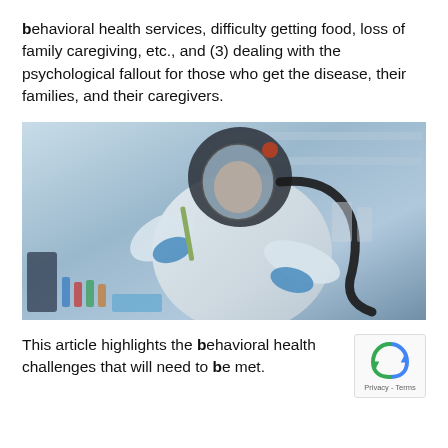behavioral health services, difficulty getting food, loss of family caregiving, etc., and (3) dealing with the psychological fallout for those who get the disease, their families, and their caregivers.
[Figure (photo): A person in a white full-body protective suit and respiratory helmet with a black hose, wearing blue gloves, working in a laboratory setting with a pipette and lab equipment.]
This article highlights the behavioral health challenges that will need to be met.